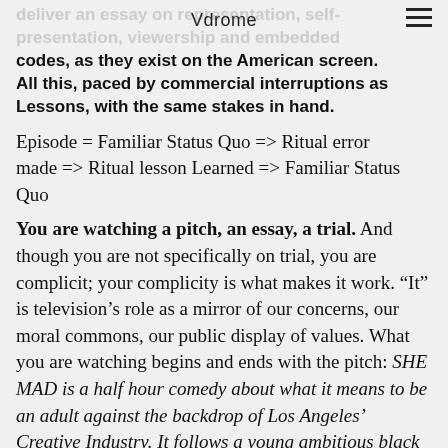Vdrome
deliver an essay on representation, self-presentation, viewership and embedded codes, as they exist on the American screen. All this, paced by commercial interruptions as Lessons, with the same stakes in hand.
Episode = Familiar Status Quo => Ritual error made => Ritual lesson Learned => Familiar Status Quo
You are watching a pitch, an essay, a trial. And though you are not specifically on trial, you are complicit; your complicity is what makes it work. “It” is television’s role as a mirror of our concerns, our moral commons, our public display of values. What you are watching begins and ends with the pitch: SHE MAD is a half hour comedy about what it means to be an adult against the backdrop of Los Angeles’ Creative Industry. It follows a young ambitious black woman, and her friends, as they